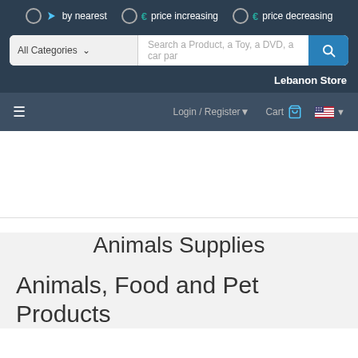by nearest  €  price increasing  €  price decreasing
All Categories  Search a Product, a Toy, a DVD, a car par
Lebanon Store
Login / Register  Cart
Animals Supplies
Animals, Food and Pet Products